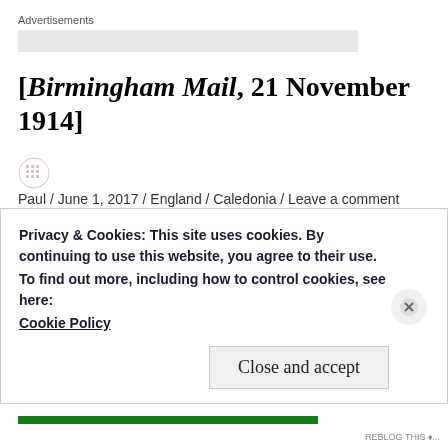Advertisements
[Birmingham Mail, 21 November 1914]
Paul / June 1, 2017 / England / Caledonia / Leave a comment
Privacy & Cookies: This site uses cookies. By continuing to use this website, you agree to their use.
To find out more, including how to control cookies, see here:
Cookie Policy
Close and accept